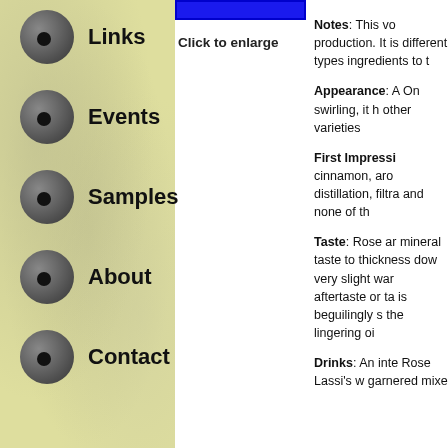[Figure (screenshot): Blue bar image at top of center panel with 'Click to enlarge' label below]
Links
Events
Samples
About
Contact
Notes: This vo production. It is different types ingredients to t
Appearance: A On swirling, it h other varieties
First Impressi cinnamon, aro distillation, filtra and none of th
Taste: Rose ar mineral taste to thickness dow very slight war aftertaste or ta is beguilingly s the lingering oi
Drinks: An inte Rose Lassi's w garnered mixe